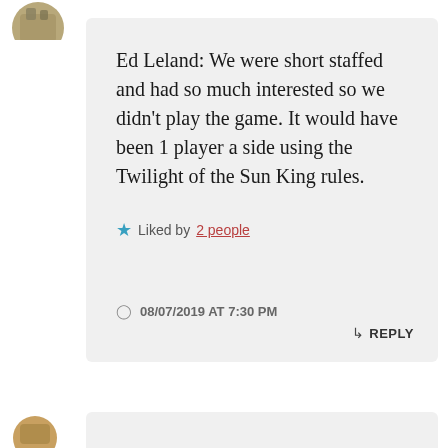[Figure (photo): Circular avatar image at top left, partially cropped]
Ed Leland: We were short staffed and had so much interested so we didn't play the game. It would have been 1 player a side using the Twilight of the Sun King rules.
★ Liked by 2 people
08/07/2019 AT 7:30 PM
↳ REPLY
[Figure (photo): Circular avatar image at bottom left, partially visible]